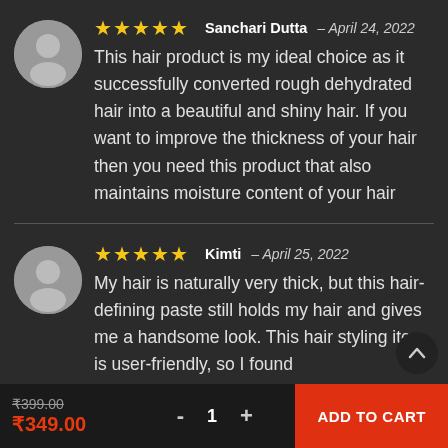★★★★★  Sanchari Dutta – April 24, 2022
This hair product is my ideal choice as it successfully converted rough dehydrated hair into a beautiful and shiny hair. If you want to improve the thickness of your hair then you need this product that also maintains moisture content of your hair
★★★★★  Kimti – April 25, 2022
My hair is naturally very thick, but this hair-defining paste still holds my hair and gives me a handsome look. This hair styling item is user-friendly, so I found
₹399.00  ₹349.00  - 1 +  ADD TO CART